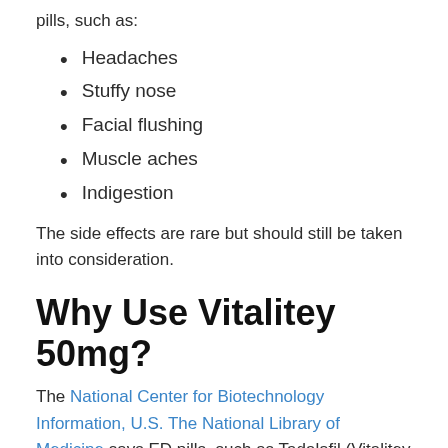pills, such as:
Headaches
Stuffy nose
Facial flushing
Muscle aches
Indigestion
The side effects are rare but should still be taken into consideration.
Why Use Vitalitey 50mg?
The National Center for Biotechnology Information, U.S. The National Library of Medicine says ED pills, such as Tadalafil (Vitalitey 50), were first approved by the United States in November 2003 at a daily dose with lower use followed by both Cilais or Claras